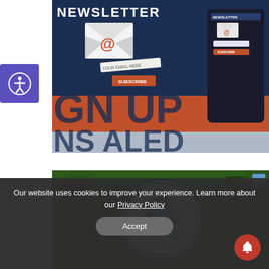[Figure (screenshot): Newsletter sign-up promotional banner with dark blue background showing envelope with @ symbol, 'YOUR EMAIL HERE' input field, SUBSCRIBE button, text 'SIGN UP' and 'NS ALERTED', and a smartphone showing newsletter interface]
[Figure (photo): Diamond Lake logo badge - circular badge with 'DIAMOND LAKE' text and mountain/lake graphic, on a green forested background]
Our website uses cookies to improve your experience. Learn more about our Privacy Policy
Accept